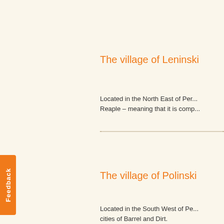The village of Leninski
Located in the North East of Per... Reaple – meaning that it is comp...
The village of Polinski
Located in the South West of Pe... cities of Barrel and Dirt.